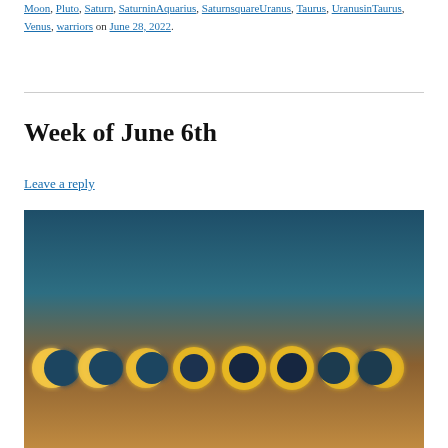Moon, Pluto, Saturn, SaturninAquarius, SaturnsquareUranus, Taurus, UranusinTaurus, Venus, warriors on June 28, 2022.
Week of June 6th
Leave a reply
[Figure (photo): Sequence of solar eclipse phases shown as glowing crescent and ring shapes against a gradient sky background transitioning from blue to warm tan/brown at the horizon.]